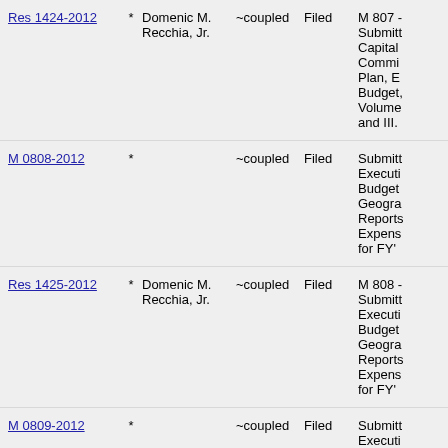Res 1424-2012 * Domenic M. Recchia, Jr. ~coupled Filed M 807 - Submitted Capital Committee Plan, Executive Budget, Volumes II and III.
M 0808-2012 * ~coupled Filed Submitted Executive Budget Geographic Reports, Expense for FY'
Res 1425-2012 * Domenic M. Recchia, Jr. ~coupled Filed M 808 - Submitted Executive Budget Geographic Reports, Expense for FY'
M 0809-2012 * ~coupled Filed Submitted Executive Capital